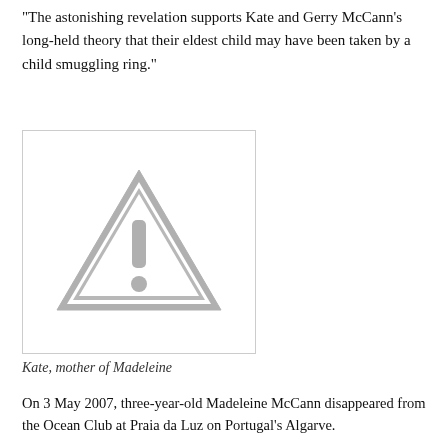"The astonishing revelation supports Kate and Gerry McCann's long-held theory that their eldest child may have been taken by a child smuggling ring."
[Figure (illustration): Placeholder image with a grey warning triangle (exclamation mark) icon on a white background with a light grey border.]
Kate, mother of Madeleine
On 3 May 2007, three-year-old Madeleine McCann disappeared from the Ocean Club at Praia da Luz on Portugal's Algarve.
On 3 May, a couple staying nearby the McCanns were woken up by their door bell ringing at 11.30pm.